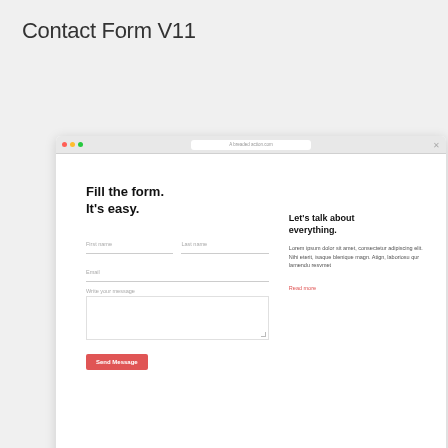Contact Form V11
[Figure (screenshot): Browser window screenshot showing a contact form webpage. Left side has bold heading 'Fill the form. It's easy.' with form fields for First name, Last name, Email, and a Write your message textarea, plus a red Send Message button. Right side has heading 'Let's talk about everything.' with lorem ipsum body text and a red Read more link.]